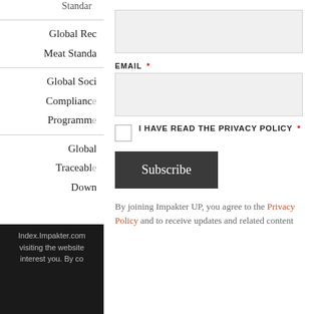Standard
Global Rec
Meat Standa
Global Soci
Compliance
Programme
Global
Traceable
Down
Index.Impakter.com visiting the website interest you. By co
EMAIL *
I HAVE READ THE PRIVACY POLICY *
Subscribe
By joining Impakter UP, you agree to the Privacy Policy and to receive updates and related content